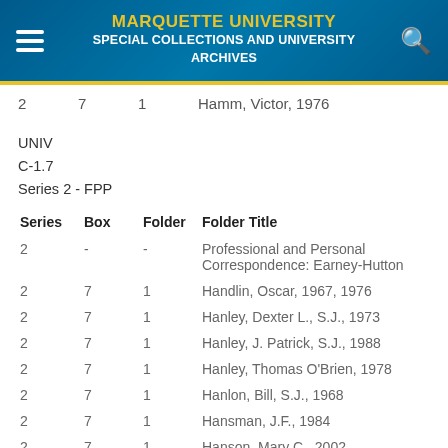MARQUETTE UNIVERSITY SPECIAL COLLECTIONS AND UNIVERSITY ARCHIVES
2  7  1  Hamm, Victor, 1976
UNIV
C-1.7
Series 2 - FPP
| Series | Box | Folder | Folder Title |
| --- | --- | --- | --- |
| 2 | - | - | Professional and Personal Correspondence: Earney-Hutton |
| 2 | 7 | 1 | Handlin, Oscar, 1967, 1976 |
| 2 | 7 | 1 | Hanley, Dexter L., S.J., 1973 |
| 2 | 7 | 1 | Hanley, J. Patrick, S.J., 1988 |
| 2 | 7 | 1 | Hanley, Thomas O'Brien, 1978 |
| 2 | 7 | 1 | Hanlon, Bill, S.J., 1968 |
| 2 | 7 | 1 | Hansman, J.F., 1984 |
| 2 | 7 | 1 | Hanson, Mary C., 2002 |